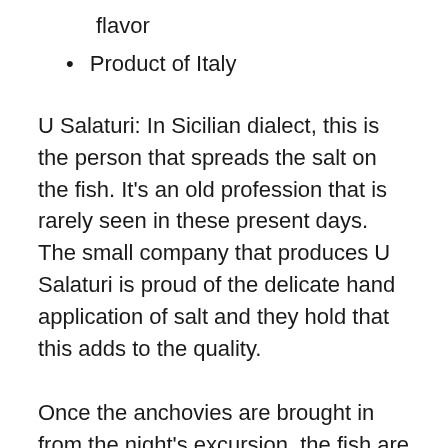flavor
Product of Italy
U Salaturi: In Sicilian dialect, this is the person that spreads the salt on the fish. It's an old profession that is rarely seen in these present days. The small company that produces U Salaturi is proud of the delicate hand application of salt and they hold that this adds to the quality.
Once the anchovies are brought in from the night's excursion, the fish are immediately cleaned and made ready for the salting. The anchovies are cured in salt for 3 to 6 months. This curing method intensifies the flavor of the